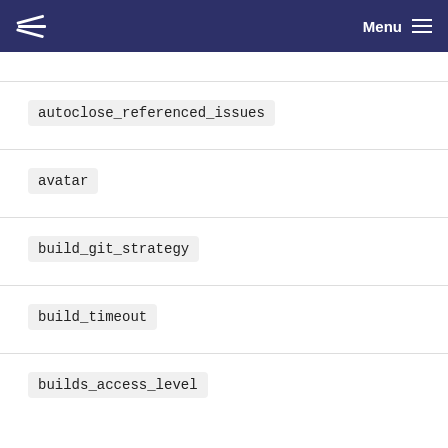Menu
autoclose_referenced_issues
avatar
build_git_strategy
build_timeout
builds_access_level